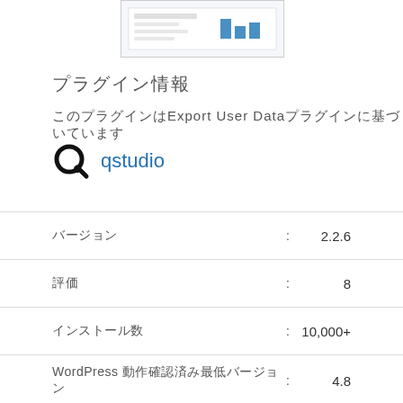[Figure (screenshot): Screenshot of a plugin interface showing a bar chart and settings]
プラグイン情報
このプラグインはExport User Dataプラグインに基づいています
qstudio
|  | : |  |
| --- | --- | --- |
| バージョン : |  | 2.2.6 |
| 評価 : |  | 8 |
| インストール数 : |  | 10,000+ |
| WordPress 動作確認済み最低バージョン : |  | 4.8 |
| テスト済み最新 WordPress バージョン : |  | 5.8.5 |
| PHP バージョン : |  | 7.0 |